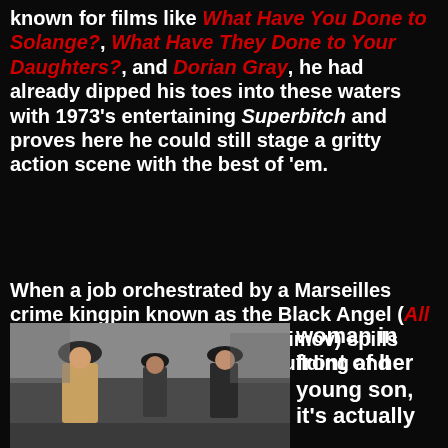known for films like What Have You Done to Solange?, What Have They Done to Your Daughters?, and Dorian Gray, he had already dipped his toes into these waters with 1973's entertaining Superbitch and proves here he could still stage a gritty action scene with the best of 'em.
When a job orchestrated by a Marseilles crime kingpin known as the Black Angel (All the Colors of the Dark's Rassimov) spills across an entire apartment building and leads to the shooting of a woman in front of her young son, it's actually
[Figure (photo): Black and white still from a film showing three men in hats and coats outdoors, appearing to have a conversation]